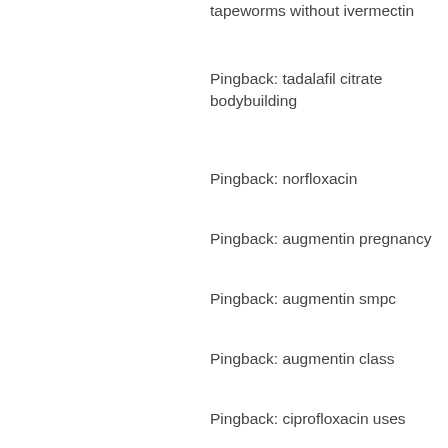Pingback: tapeworms without ivermectin
Pingback: tadalafil citrate bodybuilding
Pingback: norfloxacin
Pingback: augmentin pregnancy
Pingback: augmentin smpc
Pingback: augmentin class
Pingback: ciprofloxacin uses
Pingback: fasigyn
Pingback: ciprofloxacin ivpb